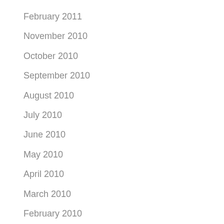February 2011
November 2010
October 2010
September 2010
August 2010
July 2010
June 2010
May 2010
April 2010
March 2010
February 2010
January 2010
December 2009
May 2009
April 2009